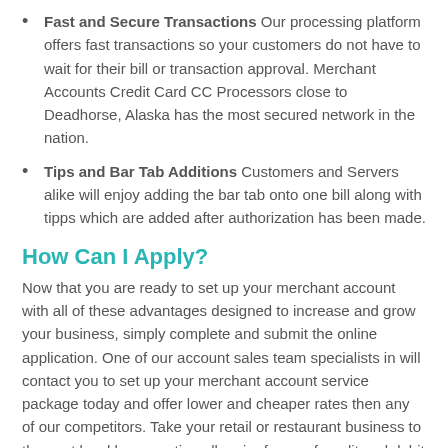Fast and Secure Transactions Our processing platform offers fast transactions so your customers do not have to wait for their bill or transaction approval. Merchant Accounts Credit Card CC Processors close to Deadhorse, Alaska has the most secured network in the nation.
Tips and Bar Tab Additions Customers and Servers alike will enjoy adding the bar tab onto one bill along with tipps which are added after authorization has been made.
How Can I Apply?
Now that you are ready to set up your merchant account with all of these advantages designed to increase and grow your business, simply complete and submit the online application. One of our account sales team specialists in will contact you to set up your merchant account service package today and offer lower and cheaper rates then any of our competitors. Take your retail or restaurant business to the next level by accepting all major forms of credit and debit cards. Same Day Approvals and Same Day Funding And Deposits Available!
Online and Internet Merchant Service Provider